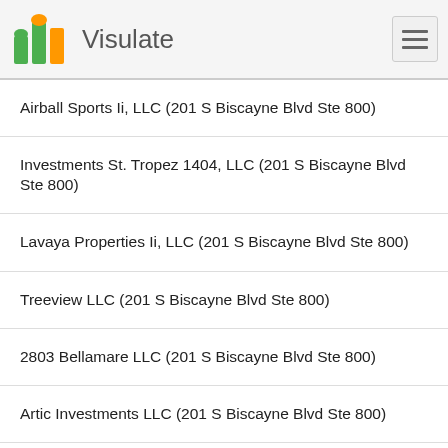Visulate
Airball Sports Ii, LLC (201 S Biscayne Blvd Ste 800)
Investments St. Tropez 1404, LLC (201 S Biscayne Blvd Ste 800)
Lavaya Properties Ii, LLC (201 S Biscayne Blvd Ste 800)
Treeview LLC (201 S Biscayne Blvd Ste 800)
2803 Bellamare LLC (201 S Biscayne Blvd Ste 800)
Artic Investments LLC (201 S Biscayne Blvd Ste 800)
Vaed Investments, LLC (201 S Biscayne Blvd Ste 800)
Lion Bay LLC (201 S Biscayne Blvd Ste 800)
Lexlatin LLC (201 S Biscayne Blvd Ste 800)
Sporten Investments, LLC (201 S Biscayne Blvd Ste 800)